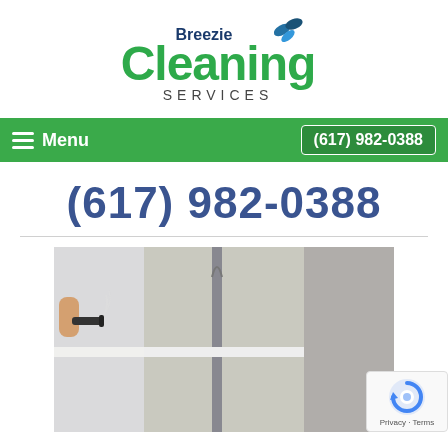[Figure (logo): Breezie Cleaning Services logo with green text and blue leaf motif]
Menu | (617) 982-0388
(617) 982-0388
[Figure (photo): A person steam cleaning a bathroom with tile floor and stall dividers]